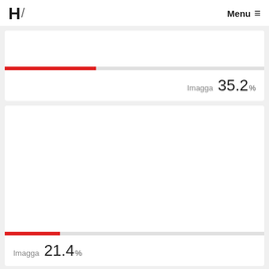H/ Menu ≡
[Figure (infographic): Card with blank image area, red progress bar at 35.2%, and Imagga 35.2% score]
Imagga 35.2%
[Figure (infographic): Card with blank image area, red progress bar at 21.4%, and Imagga 21.4% score]
Imagga 21.4%